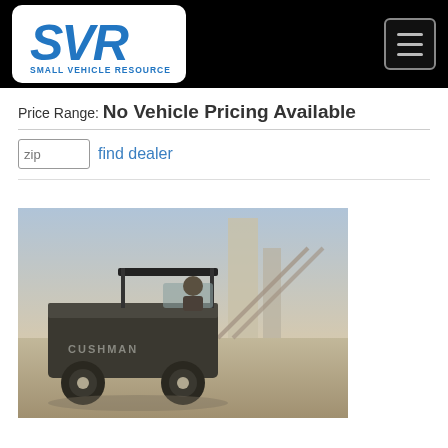SVR Small Vehicle Resource — navigation header with logo and hamburger menu
Price Range: No Vehicle Pricing Available
zip   find dealer
[Figure (photo): A Cushman utility vehicle / work cart with a flatbed, parked outdoors at an industrial facility with conveyor structures and silos in the background. The photo has a sepia/muted tone.]